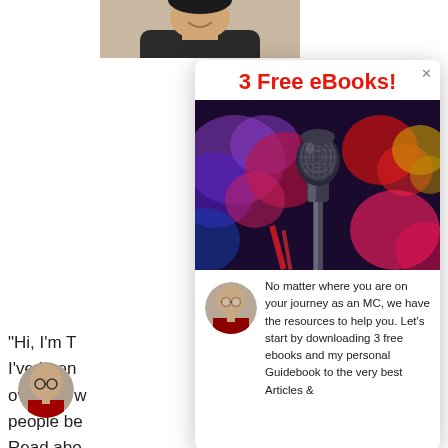3 Free eBooks!
[Figure (photo): Close-up photo of a handheld microphone against a colorful bokeh background with purple, red, blue and yellow stage lights]
[Figure (photo): Small circular avatar photo of a bald man wearing glasses and a dark jacket]
No matter where you are on your journey as an MC, we have the resources to help you. Let's start by downloading 3 free ebooks and my personal Guidebook to the very best Articles &
"Hi, I'm T I've been over the w people be Read abo